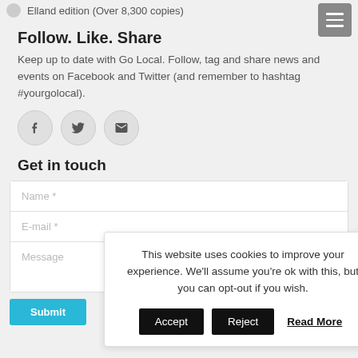Elland edition (Over 8,300 copies)
Follow. Like. Share
Keep up to date with Go Local. Follow, tag and share news and events on Facebook and Twitter (and remember to hashtag #yourgolocal).
[Figure (illustration): Three circular social media icons: Facebook (f), Twitter (bird), and Email (envelope)]
Get in touch
[Figure (screenshot): Contact form with Name *, E-mail *, and Message fields]
[Figure (infographic): Cookie consent banner overlay: 'This website uses cookies to improve your experience. We'll assume you're ok with this, but you can opt-out if you wish.' with Accept, Reject, and Read More buttons]